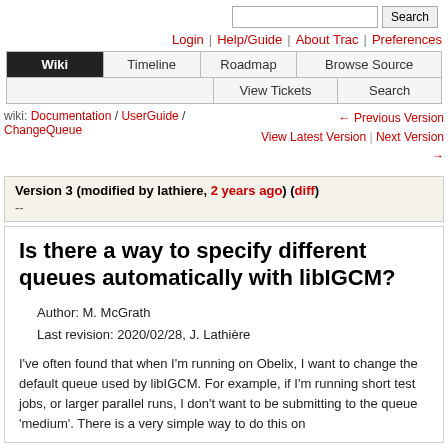Search | Login | Help/Guide | About Trac | Preferences
Wiki | Timeline | Roadmap | Browse Source | View Tickets | Search
wiki: Documentation / UserGuide / ChangeQueue
← Previous Version  View Latest Version  Next Version →
Version 3 (modified by lathiere, 2 years ago) (diff)
--
Is there a way to specify different queues automatically with libIGCM?
Author: M. McGrath
Last revision: 2020/02/28, J. Lathière
I've often found that when I'm running on Obelix, I want to change the default queue used by libIGCM. For example, if I'm running short test jobs, or larger parallel runs, I don't want to be submitting to the queue 'medium'. There is a very simple way to do this on